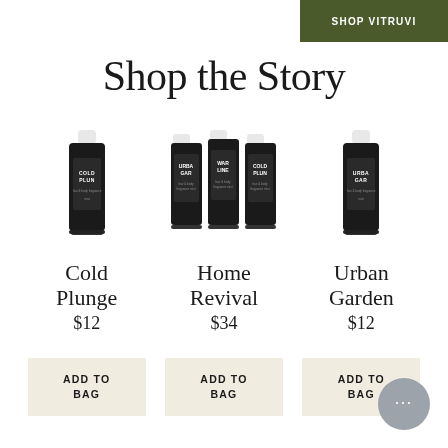SHOP VITRUVI
Shop the Story
[Figure (photo): Three product photos: a single black spray can labeled Cold Plunge, three black spray cans labeled Urban Garden / Warm Line / Cold Plunge (Home Revival bundle), and a single black spray can labeled Urban Garden, each with white caps.]
Cold Plunge
$12
Home Revival
$34
Urban Garden
$12
ADD TO BAG
ADD TO BAG
ADD TO BAG